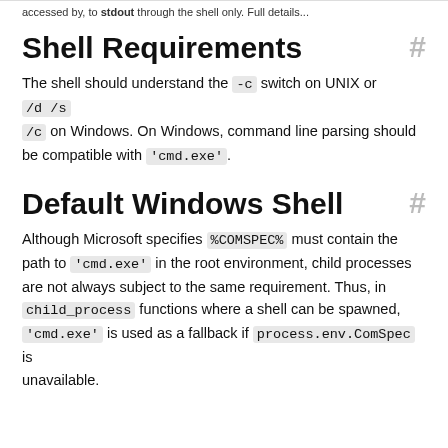...accessed by, to stdout through the shell only. Full details...
Shell Requirements #
The shell should understand the -c switch on UNIX or /d /s /c on Windows. On Windows, command line parsing should be compatible with 'cmd.exe'.
Default Windows Shell #
Although Microsoft specifies %COMSPEC% must contain the path to 'cmd.exe' in the root environment, child processes are not always subject to the same requirement. Thus, in child_process functions where a shell can be spawned, 'cmd.exe' is used as a fallback if process.env.ComSpec is unavailable.